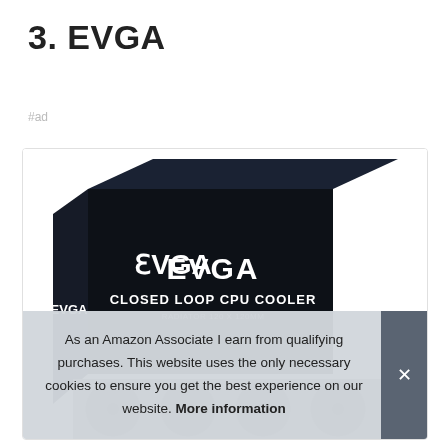3. EVGA
#ad
[Figure (photo): EVGA Closed Loop CPU Cooler product box, dark navy/black box with EVGA logo and text 'CLOSED LOOP CPU COOLER RADIATOR 120 X 120MM']
As an Amazon Associate I earn from qualifying purchases. This website uses the only necessary cookies to ensure you get the best experience on our website. More information